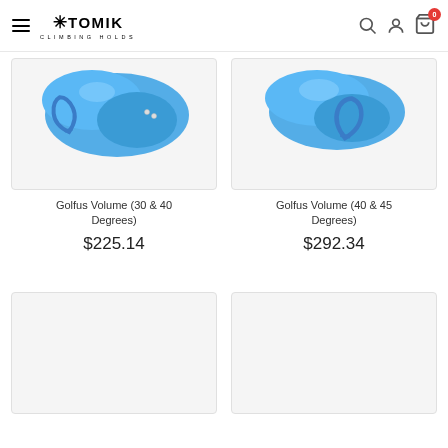[Figure (logo): Atomik Climbing Holds logo with hamburger menu and navigation icons (search, account, cart with 0 badge)]
[Figure (photo): Blue climbing volume hold (Golfus 30 & 40 degrees) with blue carabiner, on light gray background]
Golfus Volume (30 & 40 Degrees)
$225.14
[Figure (photo): Blue climbing volume hold (Golfus 40 & 45 degrees) with blue carabiner, on light gray background]
Golfus Volume (40 & 45 Degrees)
$292.34
[Figure (photo): Empty product image placeholder, light gray]
[Figure (photo): Empty product image placeholder, light gray]